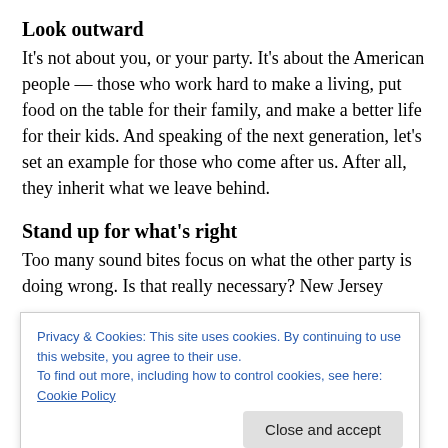Look outward
It's not about you, or your party. It's about the American people — those who work hard to make a living, put food on the table for their family, and make a better life for their kids. And speaking of the next generation, let's set an example for those who come after us. After all, they inherit what we leave behind.
Stand up for what's right
Too many sound bites focus on what the other party is doing wrong. Is that really necessary? New Jersey
Privacy & Cookies: This site uses cookies. By continuing to use this website, you agree to their use.
To find out more, including how to control cookies, see here: Cookie Policy
other party may generate better headlines, but in the long